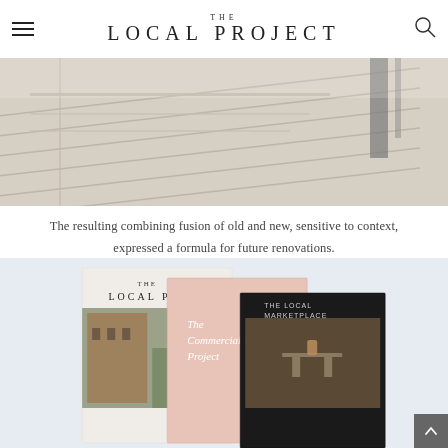THE LOCAL PROJECT
[Figure (photo): Close-up of light wood ceiling or wall paneling with architectural detail, diagonal lines, glass or metal element visible]
The resulting combining fusion of old and new, sensitive to context, expressed a formula for future renovations.
[Figure (photo): Collection of Local Project publications including The Local Project magazine, The Commercial Project (pink cover) and The Local Marketplace (dark cover), arranged overlapping on a light blue-grey background]